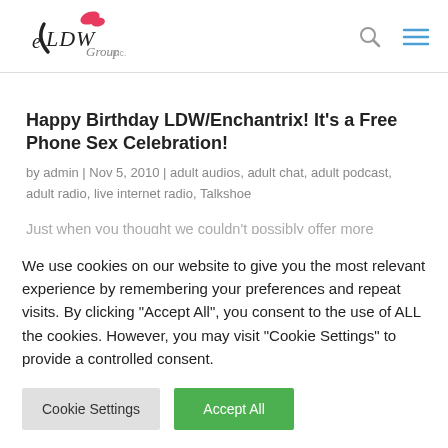[Figure (logo): LDW Group Inc. logo with stylized phone and lipstick mark]
Happy Birthday LDW/Enchantrix! It's a Free Phone Sex Celebration!
by admin | Nov 5, 2010 | adult audios, adult chat, adult podcast, adult radio, live internet radio, Talkshoe
Just when you thought we couldn't possibly offer more
We use cookies on our website to give you the most relevant experience by remembering your preferences and repeat visits. By clicking "Accept All", you consent to the use of ALL the cookies. However, you may visit "Cookie Settings" to provide a controlled consent.